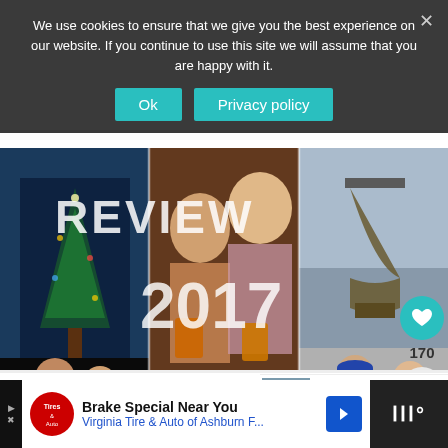We use cookies to ensure that we give you the best experience on our website. If you continue to use this site we will assume that you are happy with it.
Ok   Privacy policy
[Figure (photo): Hero image collage with text overlay 'REVIEW 2017' over three photos: Christmas tree at Rockefeller Center, couple drinking beer toasting, couple near the Liberty Bell. Heart icon with count 170 and share icon on the right side.]
← Our Year in Review – 2017
WHAT'S NEXT → The Hotel Flamingo -...
Brake Special Near You Virginia Tire & Auto of Ashburn F...